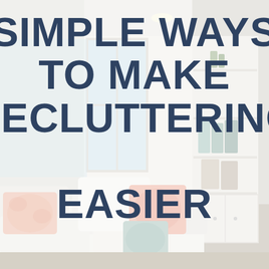[Figure (photo): A bright, airy living room interior with large windows, white walls, built-in white bookshelves with decorative items, and a white sofa with decorative pillows in pink, coral, and teal patterns. Natural light floods the space.]
SIMPLE WAYS TO MAKE DECLUTTERING EASIER